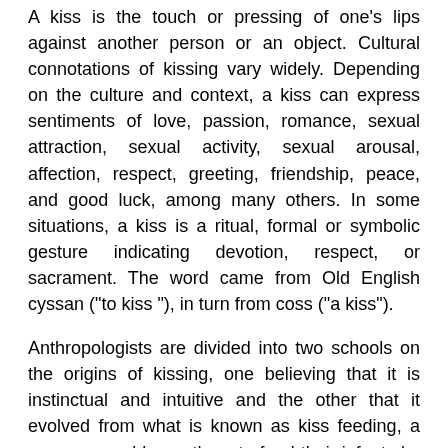A kiss is the touch or pressing of one's lips against another person or an object. Cultural connotations of kissing vary widely. Depending on the culture and context, a kiss can express sentiments of love, passion, romance, sexual attraction, sexual activity, sexual arousal, affection, respect, greeting, friendship, peace, and good luck, among many others. In some situations, a kiss is a ritual, formal or symbolic gesture indicating devotion, respect, or sacrament. The word came from Old English cyssan ("to kiss "), in turn from coss ("a kiss").
Anthropologists are divided into two schools on the origins of kissing, one believing that it is instinctual and intuitive and the other that it evolved from what is known as kiss feeding, a process used by mothers to feed their infants by passing chewed food to their babies' mouths.